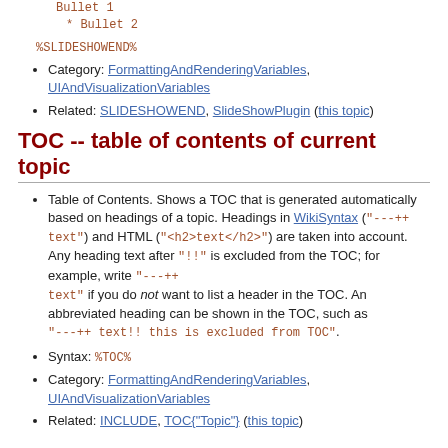Bullet 1
* Bullet 2
%SLIDESHOWEND%
Category: FormattingAndRenderingVariables, UIAndVisualizationVariables
Related: SLIDESHOWEND, SlideShowPlugin (this topic)
TOC -- table of contents of current topic
Table of Contents. Shows a TOC that is generated automatically based on headings of a topic. Headings in WikiSyntax ("---++ text") and HTML ("<h2>text</h2>") are taken into account. Any heading text after "!!" is excluded from the TOC; for example, write "---++ text" if you do not want to list a header in the TOC. An abbreviated heading can be shown in the TOC, such as "---++ text!! this is excluded from TOC".
Syntax: %TOC%
Category: FormattingAndRenderingVariables, UIAndVisualizationVariables
Related: INCLUDE, TOC{"Topic"} (this topic)